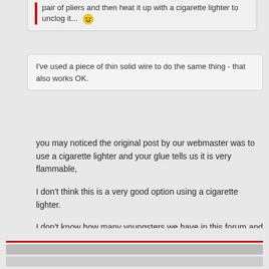pair of pliers and then heat it up with a cigarette lighter to unclog it... 😊
I've used a piece of thin solid wire to do the same thing - that also works OK.
you may noticed the original post by our webmaster was to use a cigarette lighter and your glue tells us it is very flammable,
I don't think this is a very good option using a cigarette lighter.
I don't know how many youngsters we have in this forum and one would think adults are giving advice and this should be all right.
I would suggest always ask the experts in the field if this is applicable, e.g. any naked flame or our previous discussion about blue transformers (main voltage).
regards.,
John